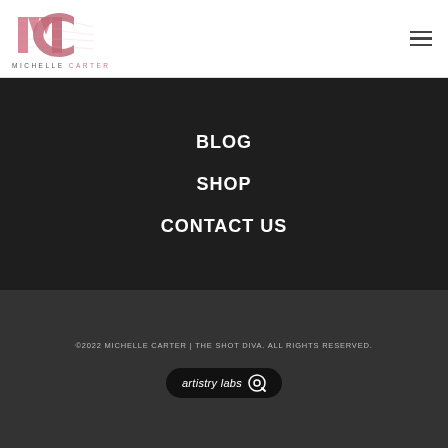[Figure (logo): Michelle Carter logo with pink/rose distressed MC monogram and text MICHELLE CARTER below]
BLOG
SHOP
CONTACT US
©2022 MICHELLE CARTER | THE SHOT DIVA. ALL RIGHTS RESERVED.
[Figure (logo): Artistry Labs logo — dark pill/oval badge with white italic text 'artistry labs' and a stylized 'a' icon]